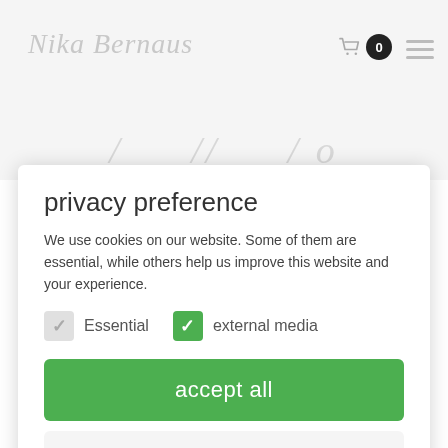[Figure (screenshot): Background website header with italic logo 'Nika Bernaus', shopping cart icon with badge showing 0, hamburger menu icon, and decorative italic text line below]
privacy preference
We use cookies on our website. Some of them are essential, while others help us improve this website and your experience.
Essential (unchecked grey checkbox) | external media (checked green checkbox)
accept all
Keep
Accept only essential cookies
Individual privacy preferences
Cookie details | Privacy Policy | Legal warning